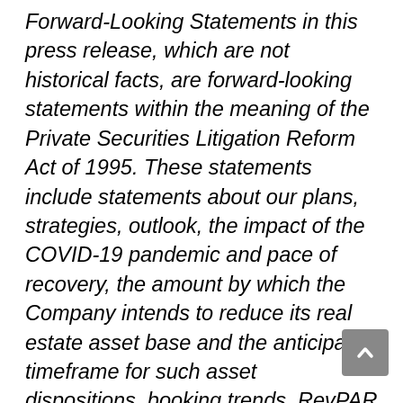Forward-Looking Statements in this press release, which are not historical facts, are forward-looking statements within the meaning of the Private Securities Litigation Reform Act of 1995. These statements include statements about our plans, strategies, outlook, the impact of the COVID-19 pandemic and pace of recovery, the amount by which the Company intends to reduce its real estate asset base and the anticipated timeframe for such asset dispositions, booking trends, RevPAR trends, average daily rate trends, leisure transient revenue trends, business transient and group demand trends,